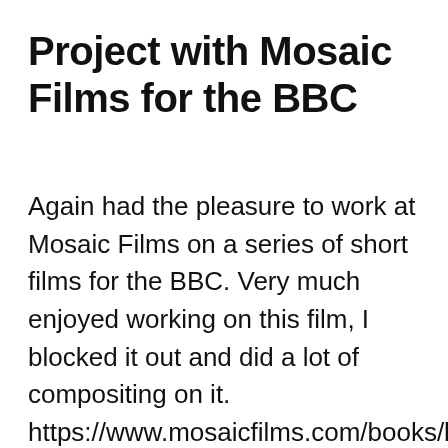Project with Mosaic Films for the BBC
Again had the pleasure to work at Mosaic Films on a series of short films for the BBC. Very much enjoyed working on this film, I blocked it out and did a lot of compositing on it. https://www.mosaicfilms.com/books/ben-and-izzy-story-living-with-